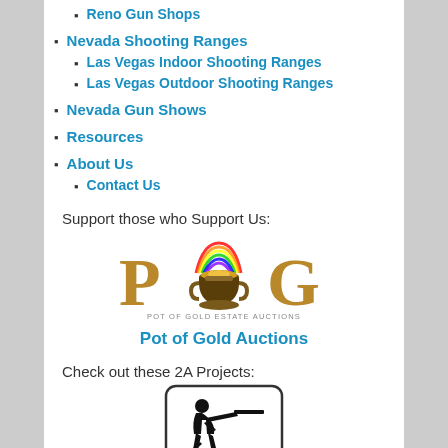Reno Gun Shops
Nevada Shooting Ranges
Las Vegas Indoor Shooting Ranges
Las Vegas Outdoor Shooting Ranges
Nevada Gun Shows
Resources
About Us
Contact Us
Support those who Support Us:
[Figure (logo): Pot of Gold Estate Auctions logo with stylized POG letters and a pot of gold with rainbow]
Pot of Gold Auctions
Check out these 2A Projects:
[Figure (logo): Silhouette of a person shooting a rifle, in a rounded square border]